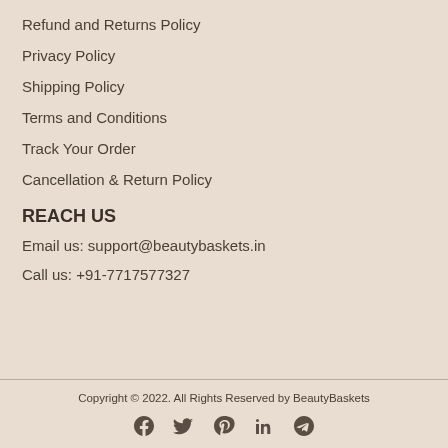Refund and Returns Policy
Privacy Policy
Shipping Policy
Terms and Conditions
Track Your Order
Cancellation & Return Policy
REACH US
Email us: support@beautybaskets.in
Call us: +91-7717577327
Copyright © 2022. All Rights Reserved by BeautyBaskets